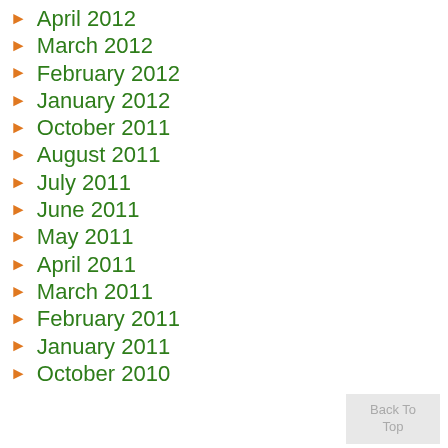April 2012
March 2012
February 2012
January 2012
October 2011
August 2011
July 2011
June 2011
May 2011
April 2011
March 2011
February 2011
January 2011
October 2010
Back To Top